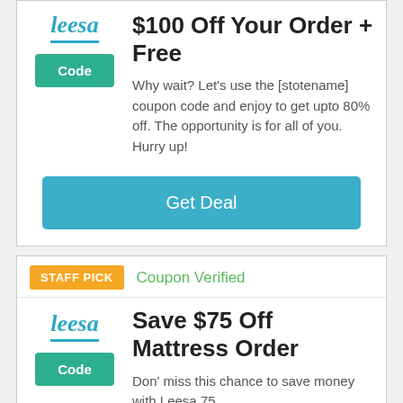$100 Off Your Order + Free
Why wait? Let's use the [stotename] coupon code and enjoy to get upto 80% off. The opportunity is for all of you. Hurry up!
Get Deal
STAFF PICK
Coupon Verified
Save $75 Off Mattress Order
Don' miss this chance to save money with Leesa 75